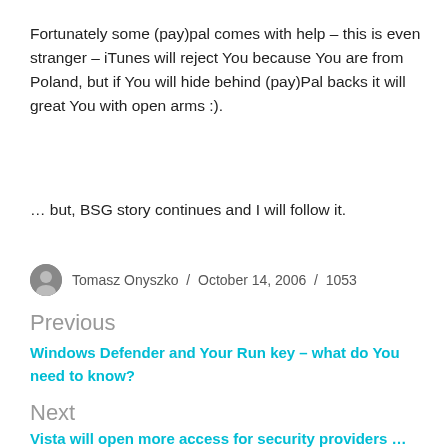Fortunately some (pay)pal comes with help – this is even stranger – iTunes will reject You because You are from Poland, but if You will hide behind (pay)Pal backs it will great You with open arms :).
… but, BSG story continues and I will follow it.
Tomasz Onyszko / October 14, 2006 / 1053
Previous
Windows Defender and Your Run key – what do You need to know?
Next
Vista will open more access for security providers …